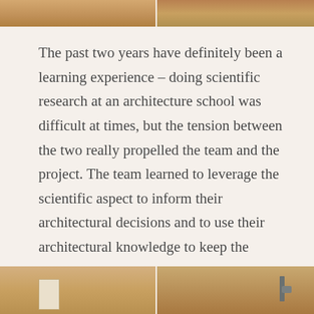[Figure (photo): Two cropped photo images at the top of the page showing wooden architectural details or surfaces, side by side]
The past two years have definitely been a learning experience – doing scientific research at an architecture school was difficult at times, but the tension between the two really propelled the team and the project. The team learned to leverage the scientific aspect to inform their architectural decisions and to use their architectural knowledge to keep the research grounded. In the end, the design was stronger because it was backed by actual research; science and architecture can and should go together.
[Figure (photo): Two cropped photo images at the bottom of the page showing wooden architectural details or surfaces with hardware elements, side by side]